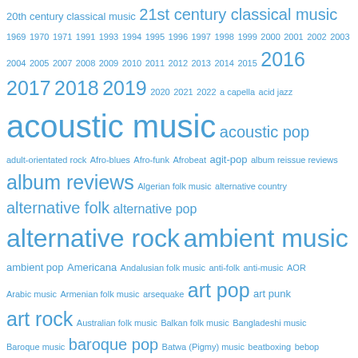[Figure (other): Tag cloud of music genres and years, rendered in varying font sizes in blue. Includes decade years (1969-2022) and genre tags such as acoustic music, acoustic pop, alternative rock, ambient music, art rock, baroque pop, and many others.]